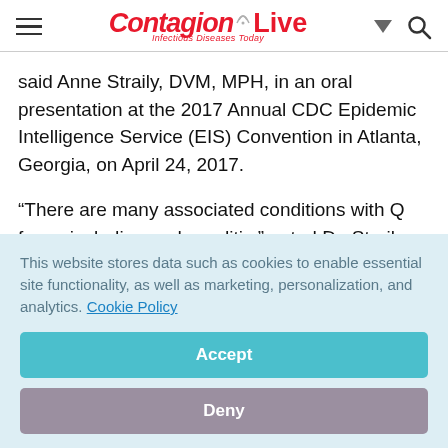ContagionLive — Infectious Diseases Today
said Anne Straily, DVM, MPH, in an oral presentation at the 2017 Annual CDC Epidemic Intelligence Service (EIS) Convention in Atlanta, Georgia, on April 24, 2017.
“There are many associated conditions with Q fever, including endocarditis,” noted Dr. Straily,
This website stores data such as cookies to enable essential site functionality, as well as marketing, personalization, and analytics. Cookie Policy
Accept
Deny